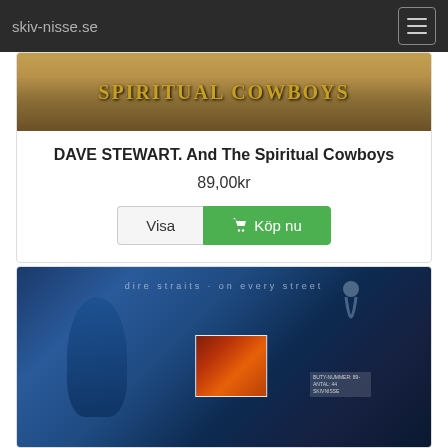skiv-nisse.se
[Figure (photo): Album cover for Dave Stewart And The Spiritual Cowboys showing stylized text on a dark golden background]
DAVE STEWART. And The Spiritual Cowboys
89,00kr
Visa  Köp nu
[Figure (photo): Album cover for Dire Straits On Every Street with blue and orange imagery]